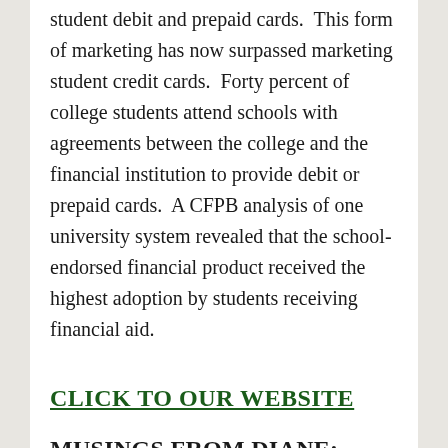student debit and prepaid cards.  This form of marketing has now surpassed marketing student credit cards.  Forty percent of college students attend schools with agreements between the college and the financial institution to provide debit or prepaid cards.  A CFPB analysis of one university system revealed that the school-endorsed financial product received the highest adoption by students receiving financial aid.
CLICK TO OUR WEBSITE
MUSINGS FROM DIANE:
S...